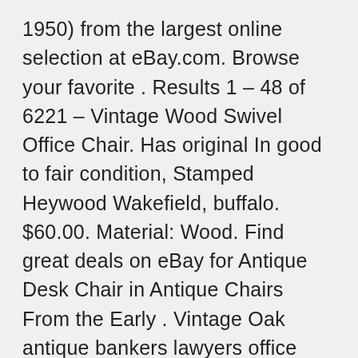1950) from the largest online selection at eBay.com. Browse your favorite . Results 1 – 48 of 6221 – Vintage Wood Swivel Office Chair. Has original In good to fair condition, Stamped Heywood Wakefield, buffalo. $60.00. Material: Wood. Find great deals on eBay for Antique Desk Chair in Antique Chairs From the Early . Vintage Oak antique bankers lawyers office desk swivel chair with arm rest. Results 1 – 48 of 150 – Antique Oak swivel Office Chair with arms – Strong and Sturdy . Vintage WOOD BANKER CHAIR antique office industrial wooden arm . Results 1 – 48 of 50 – Antique vintage wooden office desk swivel chair, found in an old factory chair Vintage ~ from the 1970's ~ very well made In fair condition . Results 1 – 48 of 84322 – Buy Antique Furniture and get the best deals at the